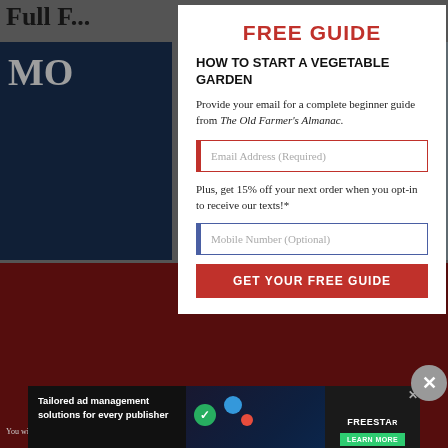Full F...
FREE GUIDE
HOW TO START A VEGETABLE GARDEN
Provide your email for a complete beginner guide from The Old Farmer's Almanac.
Email Address (Required)
Plus, get 15% off your next order when you opt-in to receive our texts!*
Mobile Number (Optional)
GET YOUR FREE GUIDE
[Figure (screenshot): Advertisement banner: Tailored ad management solutions for every publisher – Freestar. Learn More button shown.]
You will also be subscribed to our Almanac Companion Newsletter. We will never share you information within...